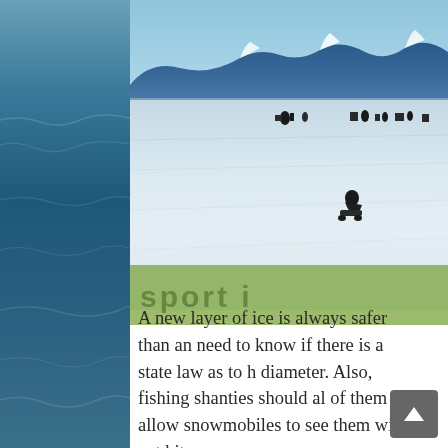[Figure (photo): Winter scene showing people and snowmobiles on a frozen lake with mountains and blue sky in the background. A person on a snowmobile is visible in the foreground of the ice field.]
A new layer of ice is always safer than an need to know if there is a state law as to h diameter. Also, fishing shanties should al of them to allow snowmobiles to see them will get hit.